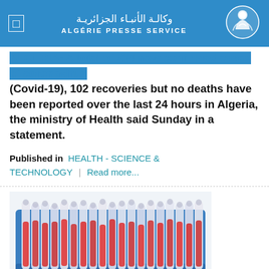وكالة الأنباء الجزائرية ALGÉRIE PRESSE SERVICE
ALGERIA- A total of 204 new confirmed cases of coronavirus (Covid-19), 102 recoveries but no deaths have been reported over the last 24 hours in Algeria, the ministry of Health said Sunday in a statement.
Published in  HEALTH - SCIENCE & TECHNOLOGY  |  Read more...
[Figure (photo): Photo of blood sample test tubes in a blue rack, with vials in foreground]
Coronavirus: 143 new cases, no death in last 24...